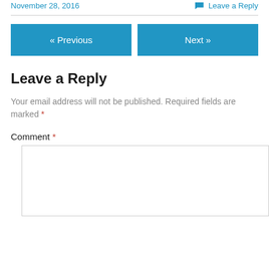November 28, 2016
Leave a Reply
« Previous
Next »
Leave a Reply
Your email address will not be published. Required fields are marked *
Comment *